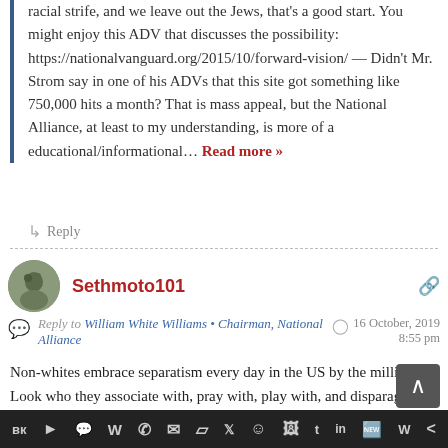racial strife, and we leave out the Jews, that's a good start. You might enjoy this ADV that discusses the possibility: https://nationalvanguard.org/2015/10/forward-vision/ — Didn't Mr. Strom say in one of his ADVs that this site got something like 750,000 hits a month? That is mass appeal, but the National Alliance, at least to my understanding, is more of a educational/informational… Read more »
↳ Reply
Sethmoto101
Reply to William White Williams • Chairman, National Alliance
16 October, 2019 8:55 pm
Non-whites embrace separatism every day in the US by the millions. Look who they associate with, pray with, play with, and disparage. Whites just have to say, "Now you got